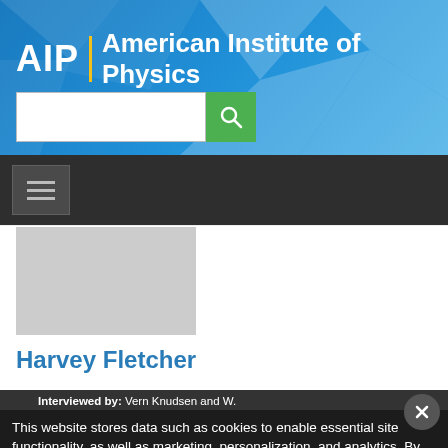AIP | American Institute of Physics
[Figure (logo): AIP American Institute of Physics logo with yellow divider bar on blue gradient background]
[Figure (screenshot): Search input box with green search button]
[Figure (screenshot): Dark navigation bar with hamburger menu button]
[Figure (photo): Gray placeholder image for Harvey Fletcher profile photo]
Harvey Fletcher
Interviewed by: Vern Knudsen and W.
This website stores data such as cookies to enable essential site functionality, as well as marketing, personalization, and analytics. By remaining on this website you indicate your consent. Privacy Policy
Location: University of California, Los